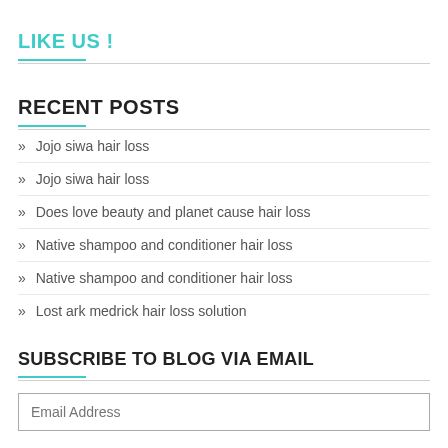LIKE US !
RECENT POSTS
» Jojo siwa hair loss
» Jojo siwa hair loss
» Does love beauty and planet cause hair loss
» Native shampoo and conditioner hair loss
» Native shampoo and conditioner hair loss
» Lost ark medrick hair loss solution
SUBSCRIBE TO BLOG VIA EMAIL
Email Address